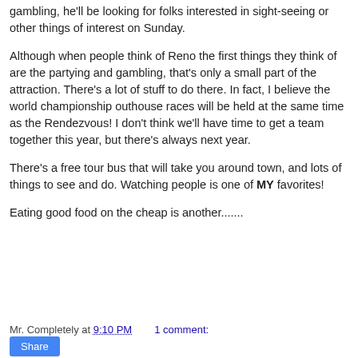gambling, he'll be looking for folks interested in sight-seeing or other things of interest on Sunday.
Although when people think of Reno the first things they think of are the partying and gambling, that's only a small part of the attraction. There's a lot of stuff to do there. In fact, I believe the world championship outhouse races will be held at the same time as the Rendezvous! I don't think we'll have time to get a team together this year, but there's always next year.
There's a free tour bus that will take you around town, and lots of things to see and do. Watching people is one of MY favorites!
Eating good food on the cheap is another.......
Mr. Completely at 9:10 PM   1 comment: